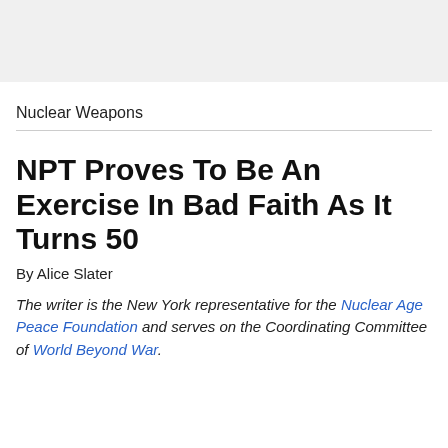[Figure (other): Gray header banner/advertisement area at the top of the page]
Nuclear Weapons
NPT Proves To Be An Exercise In Bad Faith As It Turns 50
By Alice Slater
The writer is the New York representative for the Nuclear Age Peace Foundation and serves on the Coordinating Committee of World Beyond War.